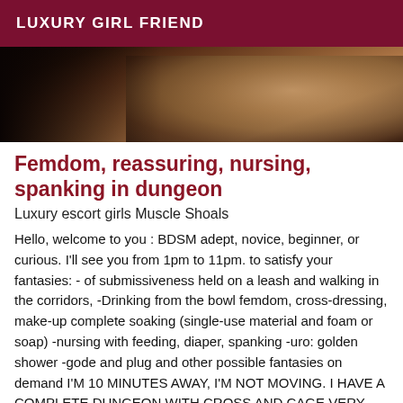LUXURY GIRL FRIEND
[Figure (photo): Dark photo showing a woman with long hair, partially obscured, dark moody tones]
Femdom, reassuring, nursing, spanking in dungeon
Luxury escort girls Muscle Shoals
Hello, welcome to you : BDSM adept, novice, beginner, or curious. I'll see you from 1pm to 11pm. to satisfy your fantasies: - of submissiveness held on a leash and walking in the corridors, -Drinking from the bowl femdom, cross-dressing, make-up complete soaking (single-use material and foam or soap) -nursing with feeding, diaper, spanking -uro: golden shower -gode and plug and other possible fantasies on demand I'M 10 MINUTES AWAY, I'M NOT MOVING. I HAVE A COMPLETE DUNGEON WITH CROSS AND CAGE VERY CLEAN AND DISCREET offering and